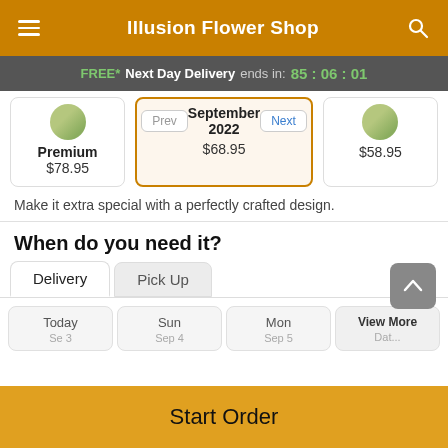Illusion Flower Shop
FREE* Next Day Delivery ends in: 85:06:01
| Premium | Standard | Value |
| --- | --- | --- |
| $78.95 | $68.95 | $58.95 |
Prev  September 2022  Next
Make it extra special with a perfectly crafted design.
When do you need it?
Delivery  Pick Up
Today  Sun  Mon  View More Dates